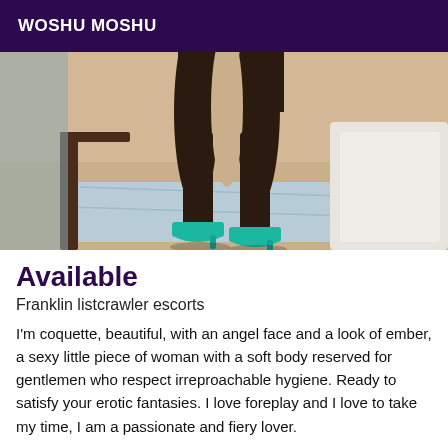WOSHU MOSHU
[Figure (photo): Photo showing a woman's legs in dark stockings and teal high heels, standing near a bed and chair in a room]
Available
Franklin listcrawler escorts
I'm coquette, beautiful, with an angel face and a look of ember, a sexy little piece of woman with a soft body reserved for gentlemen who respect irreproachable hygiene. Ready to satisfy your erotic fantasies. I love foreplay and I love to take my time, I am a passionate and fiery lover.